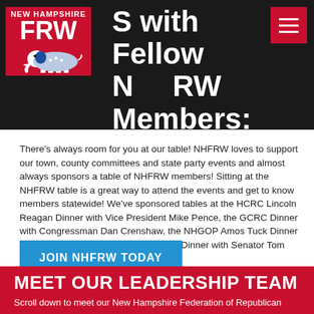[Figure (logo): New Hampshire FRW logo — red background with white text 'NEW HAMPSHIRE' and 'FRW' with an elephant graphic]
Socialize with Fellow NHFRW Members:
There's always room for you at our table! NHFRW loves to support our town, county committees and state party events and almost always sponsors a table of NHFRW members! Sitting at the NHFRW table is a great way to attend the events and get to know members statewide! We've sponsored tables at the HCRC Lincoln Reagan Dinner with Vice President Mike Pence, the GCRC Dinner with Congressman Dan Crenshaw, the NHGOP Amos Tuck Dinner with Senator Tim Scott and the CCRC Dinner with Senator Tom Cotton!
JOIN NHFRW TODAY
MEET OUR LEADERSHIP TEAM
Scroll down to meet our New Hampshire Federation of Republican